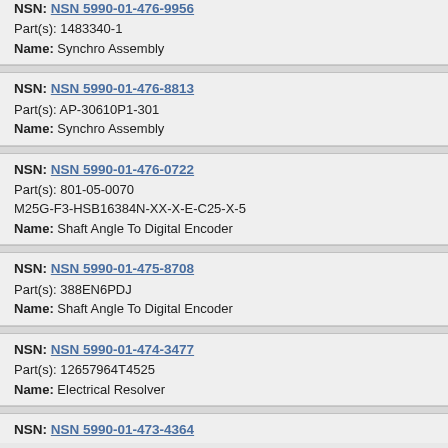NSN: NSN 5990-01-476-9956
Part(s): 1483340-1
Name: Synchro Assembly
NSN: NSN 5990-01-476-8813
Part(s): AP-30610P1-301
Name: Synchro Assembly
NSN: NSN 5990-01-476-0722
Part(s): 801-05-0070
M25G-F3-HSB16384N-XX-X-E-C25-X-5
Name: Shaft Angle To Digital Encoder
NSN: NSN 5990-01-475-8708
Part(s): 388EN6PDJ
Name: Shaft Angle To Digital Encoder
NSN: NSN 5990-01-474-3477
Part(s): 12657964T4525
Name: Electrical Resolver
NSN: NSN 5990-01-473-4364